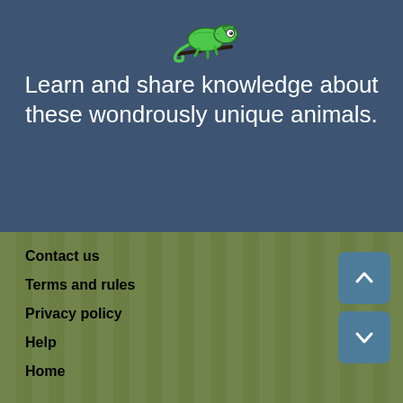[Figure (illustration): Green chameleon illustration sitting on a branch, facing right, with curled tail, on a dark blue background]
Learn and share knowledge about these wondrously unique animals.
Contact us
Terms and rules
Privacy policy
Help
Home